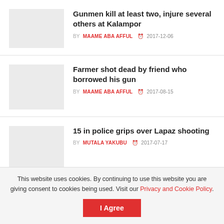Gunmen kill at least two, injure several others at Kalampor
BY MAAME ABA AFFUL  2017-12-06
Farmer shot dead by friend who borrowed his gun
BY MAAME ABA AFFUL  2017-08-15
15 in police grips over Lapaz shooting
BY MUTALA YAKUBU  2017-07-17
This website uses cookies. By continuing to use this website you are giving consent to cookies being used. Visit our Privacy and Cookie Policy.